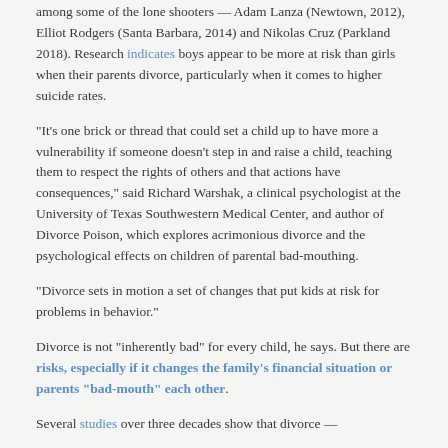among some of the lone shooters — Adam Lanza (Newtown, 2012), Elliot Rodgers (Santa Barbara, 2014) and Nikolas Cruz (Parkland 2018). Research indicates boys appear to be more at risk than girls when their parents divorce, particularly when it comes to higher suicide rates.
“It’s one brick or thread that could set a child up to have more a vulnerability if someone doesn’t step in and raise a child, teaching them to respect the rights of others and that actions have consequences,” said Richard Warshak, a clinical psychologist at the University of Texas Southwestern Medical Center, and author of Divorce Poison, which explores acrimonious divorce and the psychological effects on children of parental bad-mouthing.
“Divorce sets in motion a set of changes that put kids at risk for problems in behavior.”
Divorce is not “inherently bad” for every child, he says. But there are risks, especially if it changes the family’s financial situation or parents “bad-mouth” each other.
Several studies over three decades show that divorce —